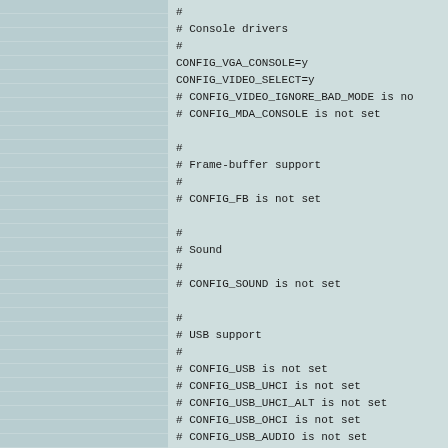#
# Console drivers
#
CONFIG_VGA_CONSOLE=y
CONFIG_VIDEO_SELECT=y
# CONFIG_VIDEO_IGNORE_BAD_MODE is no
# CONFIG_MDA_CONSOLE is not set

#
# Frame-buffer support
#
# CONFIG_FB is not set

#
# Sound
#
# CONFIG_SOUND is not set

#
# USB support
#
# CONFIG_USB is not set
# CONFIG_USB_UHCI is not set
# CONFIG_USB_UHCI_ALT is not set
# CONFIG_USB_OHCI is not set
# CONFIG_USB_AUDIO is not set
# CONFIG_USB_BLUETOOTH is not set
# CONFIG_USB_STORAGE is not set
# CONFIG_USB_STORAGE_DEBUG is not se
# CONFIG_USB_STORAGE_DATAFAB is not